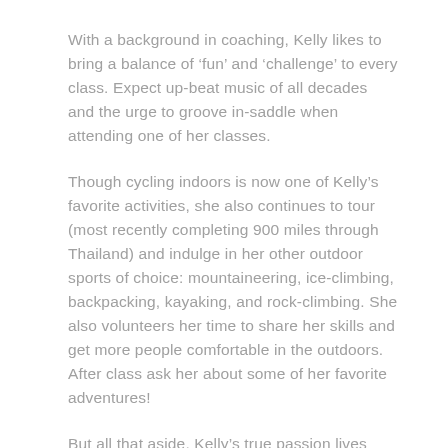With a background in coaching, Kelly likes to bring a balance of ‘fun’ and ‘challenge’ to every class. Expect up-beat music of all decades and the urge to groove in-saddle when attending one of her classes.
Though cycling indoors is now one of Kelly’s favorite activities, she also continues to tour (most recently completing 900 miles through Thailand) and indulge in her other outdoor sports of choice: mountaineering, ice-climbing, backpacking, kayaking, and rock-climbing. She also volunteers her time to share her skills and get more people comfortable in the outdoors. After class ask her about some of her favorite adventures!
But all that aside, Kelly’s true passion lives within her classes and providing the...